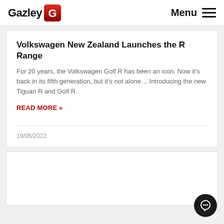Gazley — Menu
Volkswagen New Zealand Launches the R Range
For 20 years, the Volkswagen Golf R has been an icon. Now it's back in its fifth generation, but it's not alone… Introducing the new Tiguan R and Golf R.
READ MORE »
19/05/2022